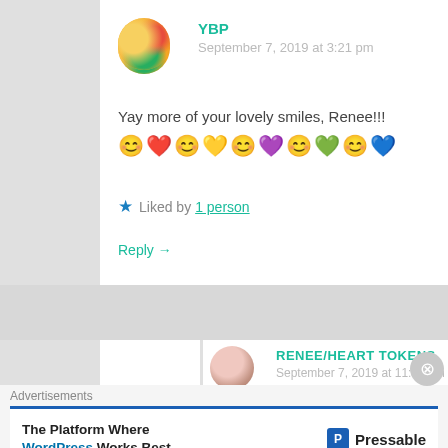YBP
September 7, 2019 at 3:21 pm
Yay more of your lovely smiles, Renee!!!
[Figure (illustration): Row of emojis: smiley face, red heart, smiley face, yellow heart, smiley face, purple heart, smiley face, green heart, smiley face, blue heart]
Liked by 1 person
Reply →
RENEE/HEART TOKENS
September 7, 2019 at 11:00 pm
[Figure (illustration): Row of emojis at bottom of nested comment]
Advertisements
The Platform Where WordPress Works Best
[Figure (logo): Pressable logo with blue P icon]